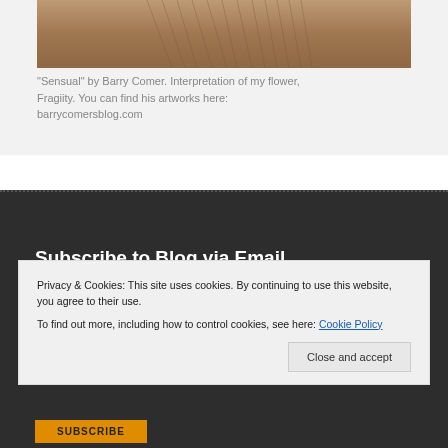[Figure (photo): Close-up photograph of what appears to be a flower or textured surface in warm brown/tan tones]
"Sensual" by Barry Comer. Interpretation of my flower, Fragiity. You can find his artworks here: barrycomersblog.com
Subscribe to Blog via Email
Enter your email address to subscribe to this
Privacy & Cookies: This site uses cookies. By continuing to use this website, you agree to their use.
To find out more, including how to control cookies, see here: Cookie Policy
Close and accept
SUBSCRIBE